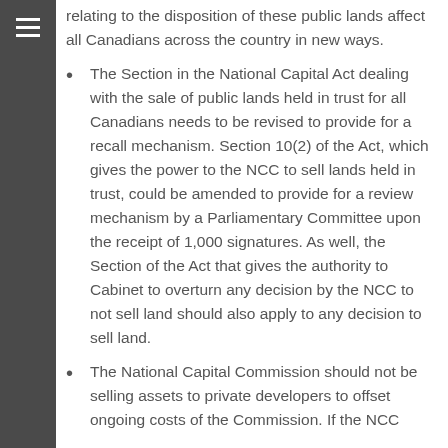relating to the disposition of these public lands affect all Canadians across the country in new ways.
The Section in the National Capital Act dealing with the sale of public lands held in trust for all Canadians needs to be revised to provide for a recall mechanism. Section 10(2) of the Act, which gives the power to the NCC to sell lands held in trust, could be amended to provide for a review mechanism by a Parliamentary Committee upon the receipt of 1,000 signatures. As well, the Section of the Act that gives the authority to Cabinet to overturn any decision by the NCC to not sell land should also apply to any decision to sell land.
The National Capital Commission should not be selling assets to private developers to offset ongoing costs of the Commission. If the NCC